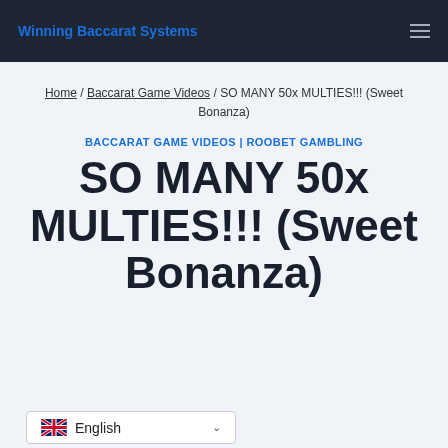Winning Baccarat Systems
Home / Baccarat Game Videos / SO MANY 50x MULTIES!!! (Sweet Bonanza)
BACCARAT GAME VIDEOS | ROOBET GAMBLING
SO MANY 50x MULTIES!!! (Sweet Bonanza)
English